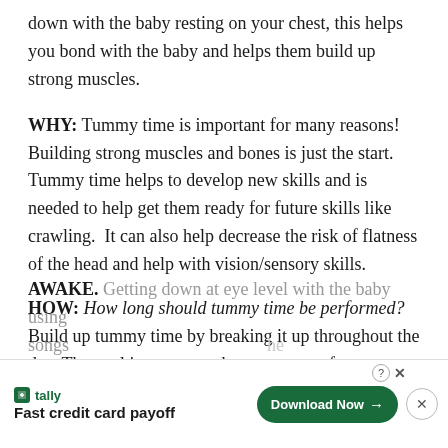down with the baby resting on your chest, this helps you bond with the baby and helps them build up strong muscles.
WHY: Tummy time is important for many reasons! Building strong muscles and bones is just the start. Tummy time helps to develop new skills and is needed to help get them ready for future skills like crawling. It can also help decrease the risk of flatness of the head and help with vision/sensory skills.
HOW: How long should tummy time be performed? Build up tummy time by breaking it up throughout the day. The goal is to get one hour or more of tummy time per day. It should be performed when the baby is SUPERVISED AND AWAKE. Getting down at eye level with the baby using songs
[Figure (other): Advertisement banner for Tally app: 'Fast credit card payoff' with a Download Now button]